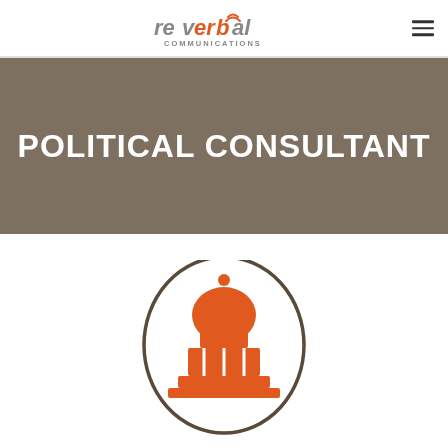reverbal COMMUNICATIONS
POLITICAL CONSULTANT
[Figure (illustration): Capitol building / government dome icon in orange with dark brown outline, partially visible, on white background]